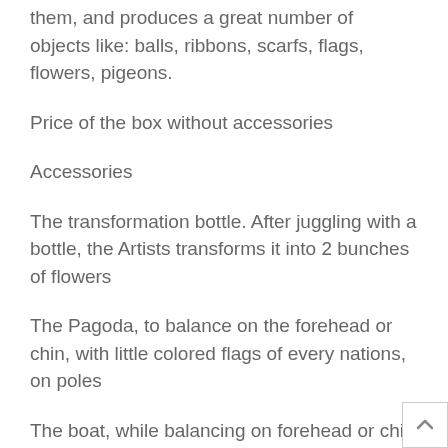them, and produces a great number of objects like: balls, ribbons, scarfs, flags, flowers, pigeons.
Price of the box without accessories
Accessories
The transformation bottle. After juggling with a bottle, the Artists transforms it into 2 bunches of flowers
The Pagoda, to balance on the forehead or chin, with little colored flags of every nations, on poles
The boat, while balancing on forehead or chin at